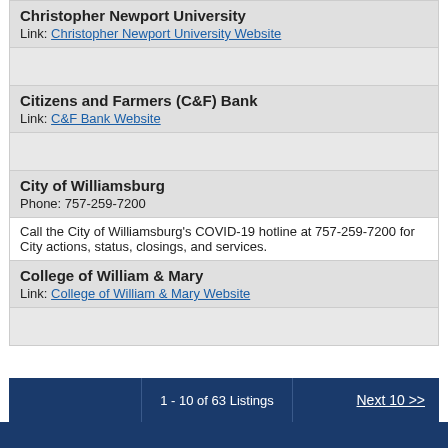| Christopher Newport University
Link: Christopher Newport University Website |
| (spacer) |
| Citizens and Farmers (C&F) Bank
Link: C&F Bank Website |
| (spacer) |
| City of Williamsburg
Phone: 757-259-7200 |
| Call the City of Williamsburg's COVID-19 hotline at 757-259-7200 for City actions, status, closings, and services. |
| College of William & Mary
Link: College of William & Mary Website |
| (spacer) |
1 - 10 of 63 Listings    Next 10 >>